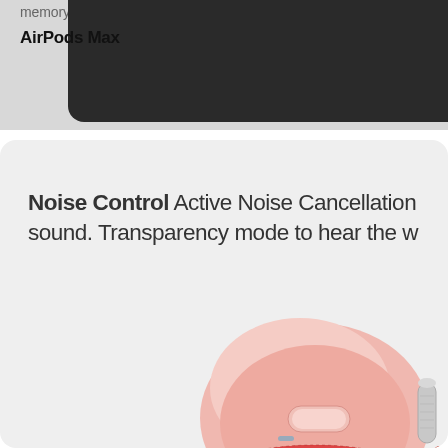memory foam ear cushions.
AirPods Max
Noise Control Active Noise Cancellation blocks outside sound. Transparency mode to hear the w
[Figure (photo): Close-up photo of AirPods Max in pink color showing the noise control button and digital crown, with red ear cushion visible at bottom]